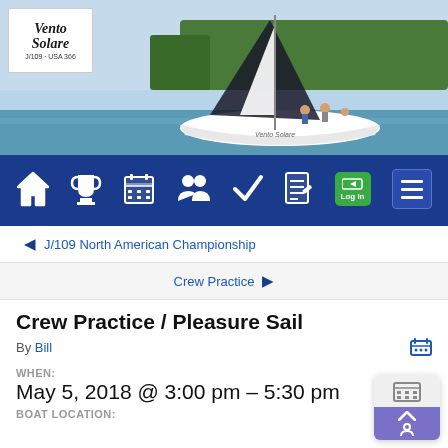[Figure (photo): Sailboat on water with trees in background; Vento Solare logo (J/109 USA 366) in top-left white box]
[Figure (infographic): Dark blue navigation bar with icons: home, trophy, calendar, crew, checkmark, document, Log In button, hamburger menu]
◀ J/109 North American Championship
Crew Practice ▶
Crew Practice / Pleasure Sail
By Bill
WHEN:
May 5, 2018 @ 3:00 pm – 5:30 pm
BOAT LOCATION: